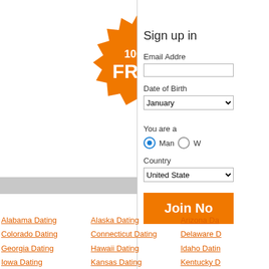[Figure (illustration): Orange starburst/badge shape with '100% FREE' text in white]
[Figure (other): Gray horizontal bar (partially visible, cropped)]
Sign up in
Email Address
Date of Birth
January
You are a
Man
W
Country
United State
Join No
Alabama Dating
Colorado Dating
Georgia Dating
Iowa Dating
Alaska Dating
Connecticut Dating
Hawaii Dating
Kansas Dating
Arizona Da
Delaware D
Idaho Datin
Kentucky D